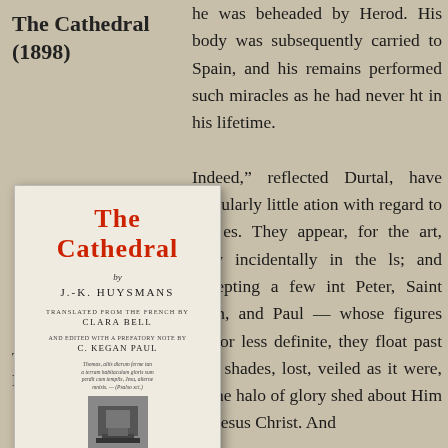The Cathedral (1898)
[Figure (photo): Front cover of the book 'The Cathedral' by J.-K. Huysmans, translated from the French by Clara Bell, and edited with a prefatory note by C. Kegan Paul. Published in London by Kegan Paul, Trench, Trübner & Co. Ltd., Paternoster House, Charing Cross Road, 1898. Red and black typography on cream/ivory paper. Publisher's device (woodcut illustration) in the center. Watermark: www.huysmans.org]
Translated by Clara Bell
he was beheaded by Herod. His body was subsequently carried to Spain, and his remains performed such miracles as he had never ht in his lifetime.

Indeed," reflected Durtal, have singularly little ation with regard to the es. They appear, for the art, only incidentally in the ls; and excepting a few int Peter, Saint John, and Paul — whose figures are or less definite, they float past like shades, lost, veiled as it were, in the halo of glory shed about Him by Jesus Christ. And